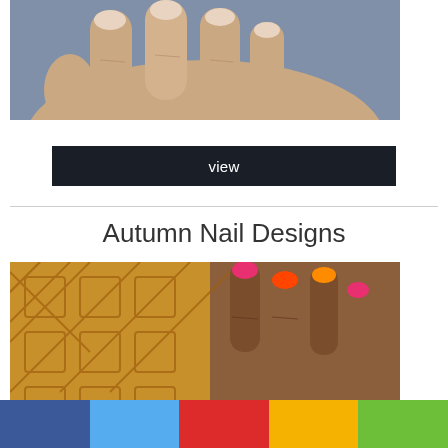[Figure (photo): Close-up photo of a hand with bare fingernails, knuckles visible, against a gray-blue background]
view
Autumn Nail Designs
[Figure (photo): Close-up photo of a dark-skinned hand with colorful painted nails (pink, orange, red) resting on a yellow lattice surface]
[Figure (infographic): Social share bar with five colored sections: blue (Facebook), light blue (Twitter), red (Pinterest/Google+), yellow, and green]